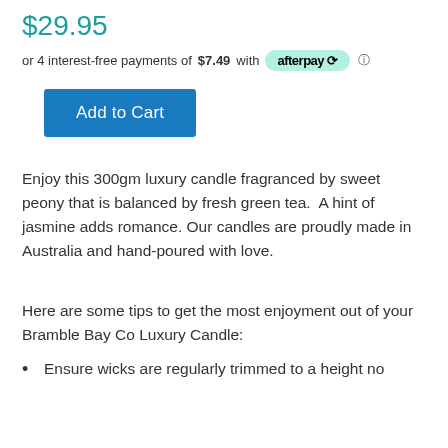$29.95
or 4 interest-free payments of $7.49 with afterpay
Add to Cart
Enjoy this 300gm luxury candle fragranced by sweet peony that is balanced by fresh green tea.  A hint of jasmine adds romance. Our candles are proudly made in Australia and hand-poured with love.
Here are some tips to get the most enjoyment out of your Bramble Bay Co Luxury Candle:
Ensure wicks are regularly trimmed to a height no